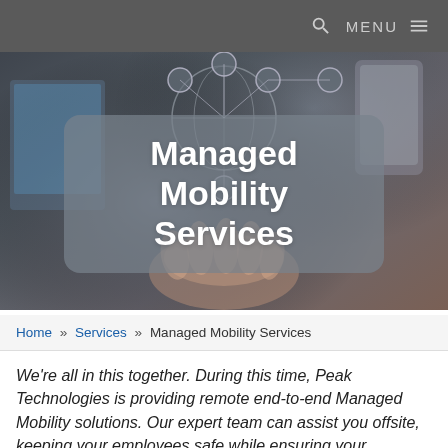MENU
[Figure (photo): Hero image showing a person holding devices with a globe and network connectivity icons overlay, dark technology theme background]
Managed Mobility Services
Home » Services » Managed Mobility Services
We're all in this together. During this time, Peak Technologies is providing remote end-to-end Managed Mobility solutions. Our expert team can assist you offsite, keeping your employees safe while ensuring your